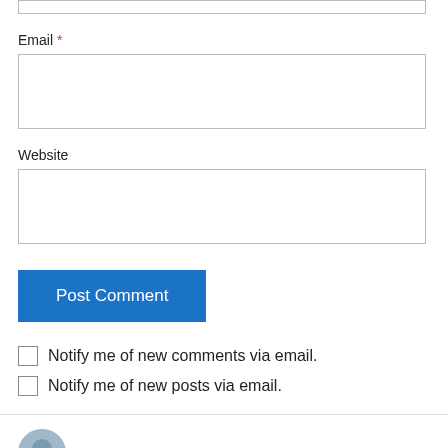Email *
Website
Post Comment
Notify me of new comments via email.
Notify me of new posts via email.
[Figure (photo): User avatar circle photo for Marneymae]
Marneymae on November 2, 2013 at 6:05 pm
…the place of acquisition, address, and for following